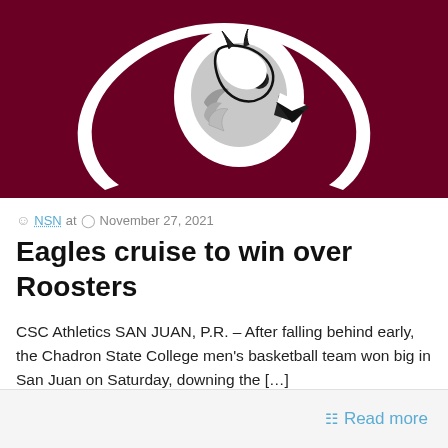[Figure (logo): Chadron State College Eagles athletic logo — white eagle head inside a maroon letter C, on a dark maroon background]
NSN at  November 27, 2021
Eagles cruise to win over Roosters
CSC Athletics SAN JUAN, P.R. – After falling behind early, the Chadron State College men's basketball team won big in San Juan on Saturday, downing the […]
Read more